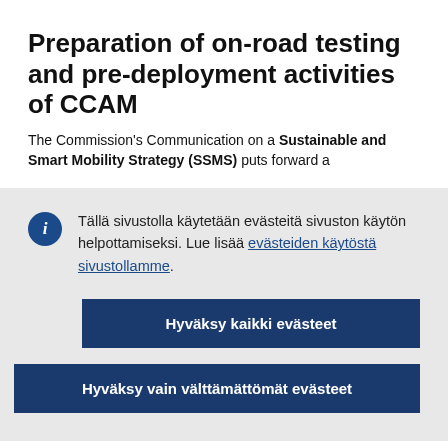Preparation of on-road testing and pre-deployment activities of CCAM
The Commission's Communication on a Sustainable and Smart Mobility Strategy (SSMS) puts forward a
Tällä sivustolla käytetään evästeitä sivuston käytön helpottamiseksi. Lue lisää evästeiden käytöstä sivustollamme.
Hyväksy kaikki evästeet
Hyväksy vain välttämättömät evästeet